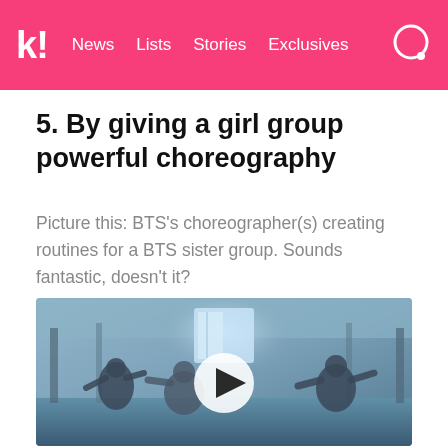k! News  Lists  Stories  Exclusives
5. By giving a girl group powerful choreography
Picture this: BTS's choreographer(s) creating routines for a BTS sister group. Sounds fantastic, doesn't it?
[Figure (screenshot): Video thumbnail showing BTS members dancing in a warehouse/studio setting with a play button overlay in the center]